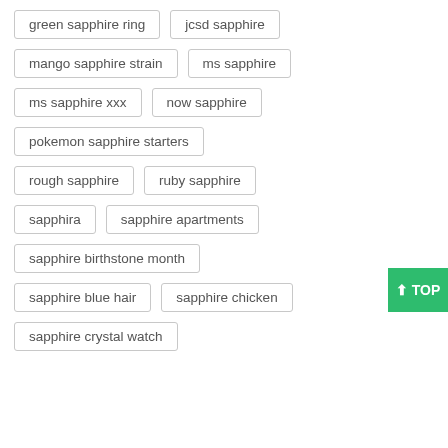green sapphire ring
jcsd sapphire
mango sapphire strain
ms sapphire
ms sapphire xxx
now sapphire
pokemon sapphire starters
rough sapphire
ruby sapphire
sapphira
sapphire apartments
sapphire birthstone month
sapphire blue hair
sapphire chicken
sapphire crystal watch